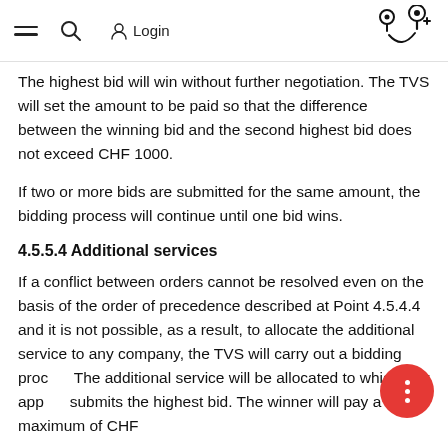≡  🔍  Login
The highest bid will win without further negotiation. The TVS will set the amount to be paid so that the difference between the winning bid and the second highest bid does not exceed CHF 1000.
If two or more bids are submitted for the same amount, the bidding process will continue until one bid wins.
4.5.5.4 Additional services
If a conflict between orders cannot be resolved even on the basis of the order of precedence described at Point 4.5.4.4 and it is not possible, as a result, to allocate the additional service to any company, the TVS will carry out a bidding proc… The additional service will be allocated to whichever app… submits the highest bid. The winner will pay a maximum of CHF